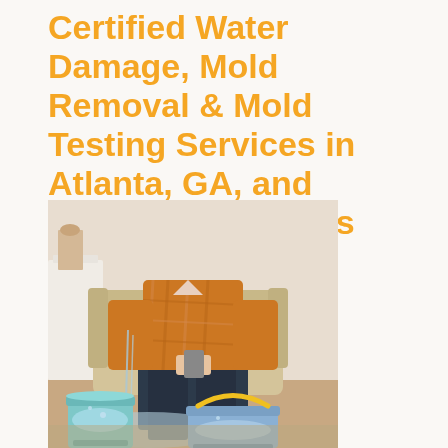Certified Water Damage, Mold Removal & Mold Testing Services in Atlanta, GA, and Surrounding Areas
[Figure (photo): A person sitting in a flooded living room on an armchair, holding a phone, with water dripping and two buckets (one teal, one blue with yellow handle) collecting water on the floor.]